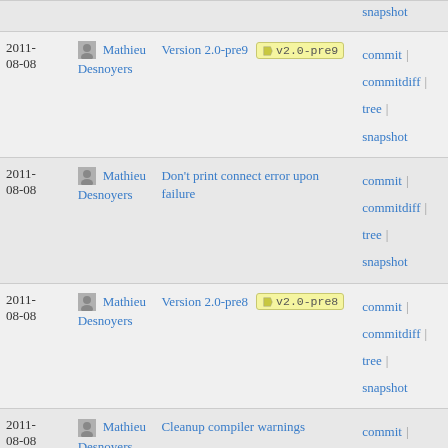| Date | Author | Commit | Links |
| --- | --- | --- | --- |
| 2011-08-08 | Mathieu Desnoyers | Version 2.0-pre9  v2.0-pre9 | commit | commitdiff | tree | snapshot |
| 2011-08-08 | Mathieu Desnoyers | Don't print connect error upon failure | commit | commitdiff | tree | snapshot |
| 2011-08-08 | Mathieu Desnoyers | Version 2.0-pre8  v2.0-pre8 | commit | commitdiff | tree | snapshot |
| 2011-08-08 | Mathieu Desnoyers | Cleanup compiler warnings | commit | commitdiff | tree | snapshot |
| 2011-08-08 | Mathieu Desnoyers | Allow tracing group users to read trace files they... | commit | commitdiff | tree | snapshot |